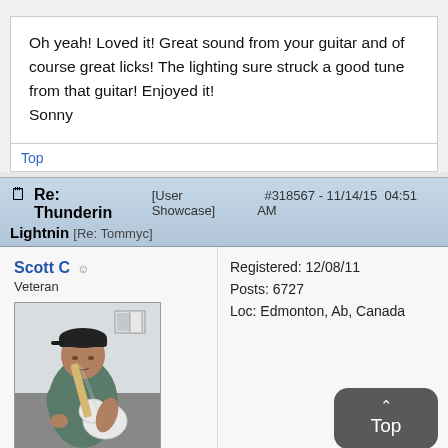Oh yeah! Loved it! Great sound from your guitar and of course great licks! The lighting sure struck a good tune from that guitar! Enjoyed it!
Sonny
Top
Re: Thunderin Lightnin [Re: Tommyc] [User Showcase] #318567 - 11/14/15 04:51 AM
Scott C
Veteran
Registered: 12/08/11
Posts: 6727
Loc: Edmonton, Ab, Canada
[Figure (photo): Profile photo of Scott C, a man in a dark cap and blue shirt playing a white electric guitar indoors]
Top